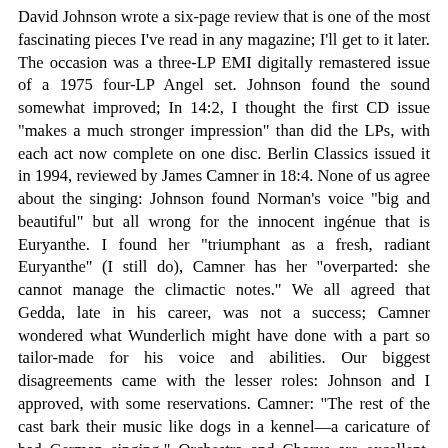David Johnson wrote a six-page review that is one of the most fascinating pieces I've read in any magazine; I'll get to it later. The occasion was a three-LP EMI digitally remastered issue of a 1975 four-LP Angel set. Johnson found the sound somewhat improved; In 14:2, I thought the first CD issue "makes a much stronger impression" than did the LPs, with each act now complete on one disc. Berlin Classics issued it in 1994, reviewed by James Camner in 18:4. None of us agree about the singing: Johnson found Norman's voice "big and beautiful" but all wrong for the innocent ingénue that is Euryanthe. I found her "triumphant as a fresh, radiant Euryanthe" (I still do), Camner has her "overparted: she cannot manage the climactic notes." We all agreed that Gedda, late in his career, was not a success; Camner wondered what Wunderlich might have done with a part so tailor-made for his voice and abilities. Our biggest disagreements came with the lesser roles: Johnson and I approved, with some reservations. Camner: "The rest of the cast bark their music like dogs in a kennel—a caricature of bad German singing." Orchestra and Chorus are excellent. Only two things need be reported about the current issue: compared to the first EMI CDs, its sound is improved yet again; everything is noticeably clearer and cleaner. Second, the libretto here is in German only; EMI includes a side-by-side English translation.
There are live-performance alternatives: a 1950s outing with a very